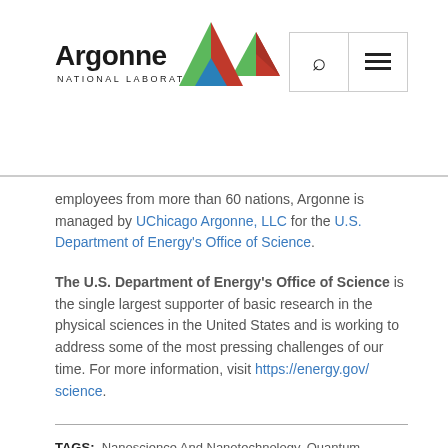[Figure (logo): Argonne National Laboratory logo with triangle icon in red, green, blue]
employees from more than 60 nations, Argonne is managed by UChicago Argonne, LLC for the U.S. Department of Energy's Office of Science.
The U.S. Department of Energy's Office of Science is the single largest supporter of basic research in the physical sciences in the United States and is working to address some of the most pressing challenges of our time. For more information, visit https://energy.gov/science.
TAGS: Nanoscience And Nanotechnology, Quantum Information Science, Heterogeneous Catalysis, Photocatalysis, Solar Fuels
CONTACT US
For More Information, Media Related Inquiries